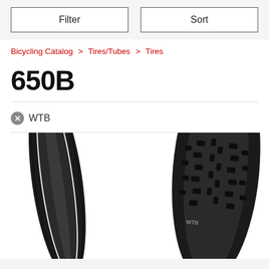Filter | Sort
Bicycling Catalog > Tires/Tubes > Tires
650B
✕ WTB
[Figure (photo): Two bicycle tires shown side by side: a narrow road/hybrid tire on the left and a wide knobby mountain bike tire on the right, both in black, partially visible cropped at the bottom of the page.]